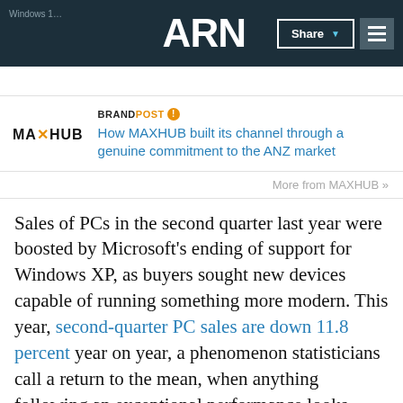ARN | Windows 1… | Share | Menu
[Figure (logo): MAXHUB logo with brandpost label and article title: How MAXHUB built its channel through a genuine commitment to the ANZ market]
More from MAXHUB »
Sales of PCs in the second quarter last year were boosted by Microsoft's ending of support for Windows XP, as buyers sought new devices capable of running something more modern. This year, second-quarter PC sales are down 11.8 percent year on year, a phenomenon statisticians call a return to the mean, when anything following an exceptional performance looks mediocre by comparison. But analysts have also found another reason to blame Microsoft for poor